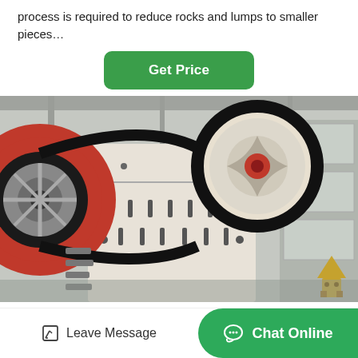process is required to reduce rocks and lumps to smaller pieces…
[Figure (photo): Industrial jaw crusher machine in a factory setting. Large white and red heavy machinery with flywheels (one red on left, one white with red center on right), black conveyor belt, bolted panels, and industrial warehouse background.]
Leave Message
Chat Online